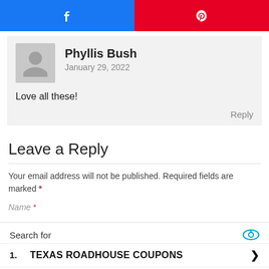[Figure (other): Facebook share button (blue) and Pinterest share button (red) side by side]
Phyllis Bush
January 29, 2022
Love all these!
Reply
Leave a Reply
Your email address will not be published. Required fields are marked *
Name *
[Figure (infographic): Ad overlay: Search for results listing 1. TEXAS ROADHOUSE COUPONS and 2. HONEY GLAZED HAM with eye icon and play icon]